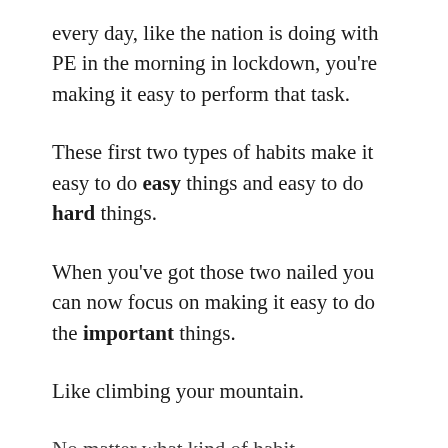every day, like the nation is doing with PE in the morning in lockdown, you're making it easy to perform that task.
These first two types of habits make it easy to do easy things and easy to do hard things.
When you've got those two nailed you can now focus on making it easy to do the important things.
Like climbing your mountain.
No matter what kind of habit...